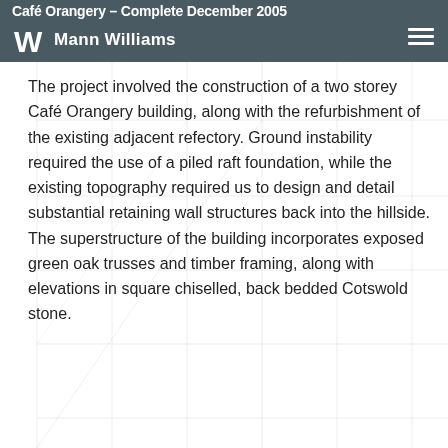Café Orangery – Complete December 2005 | Mann Williams
The project involved the construction of a two storey Café Orangery building, along with the refurbishment of the existing adjacent refectory. Ground instability required the use of a piled raft foundation, while the existing topography required us to design and detail substantial retaining wall structures back into the hillside. The superstructure of the building incorporates exposed green oak trusses and timber framing, along with elevations in square chiselled, back bedded Cotswold stone.